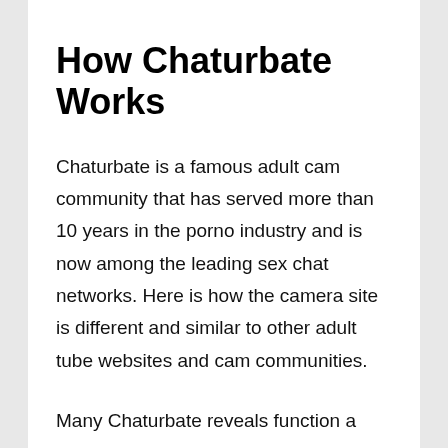How Chaturbate Works
Chaturbate is a famous adult cam community that has served more than 10 years in the porno industry and is now among the leading sex chat networks. Here is how the camera site is different and similar to other adult tube websites and cam communities.
Many Chaturbate reveals function a